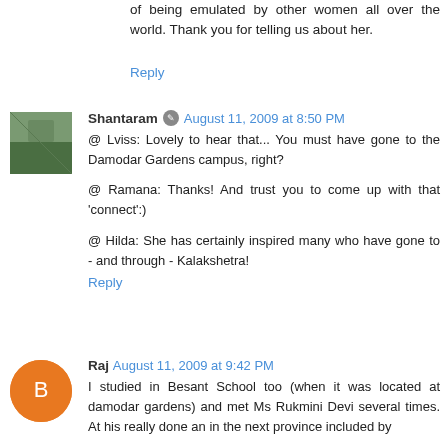of being emulated by other women all over the world. Thank you for telling us about her.
Reply
Shantaram ✎ August 11, 2009 at 8:50 PM
@ Lviss: Lovely to hear that... You must have gone to the Damodar Gardens campus, right?

@ Ramana: Thanks! And trust you to come up with that 'connect':)

@ Hilda: She has certainly inspired many who have gone to - and through - Kalakshetra!
Reply
Raj August 11, 2009 at 9:42 PM
I studied in Besant School too (when it was located at damodar gardens) and met Ms Rukmini Devi several times. At his really done an in the next province included by